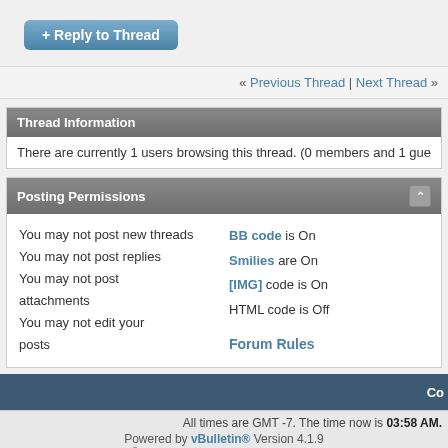+ Reply to Thread
« Previous Thread | Next Thread »
Thread Information
There are currently 1 users browsing this thread. (0 members and 1 gue...
Posting Permissions
You may not post new threads
You may not post replies
You may not post attachments
You may not edit your posts
BB code is On
Smilies are On
[IMG] code is On
HTML code is Off
Forum Rules
All times are GMT -7. The time now is 03:58 AM.
Powered by vBulletin® Version 4.1.9
Copyright © 2022 vBulletin Solutions, Inc. All rights rese...